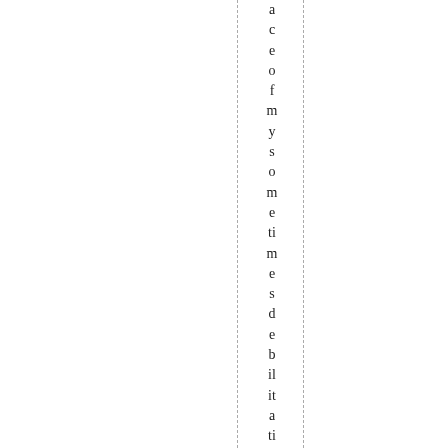ace of my sometimes debilitating depres